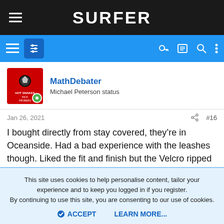SURFER
MathDebater
Michael Peterson status
Jan 26, 2021   #16
I bought directly from stay covered, they’re in Oceanside. Had a bad experience with the leashes though. Liked the fit and finish but the Velcro ripped off duck diving waves just from the white wash hitting my ankle on a 6’ day. Never had that happen before.
This site uses cookies to help personalise content, tailor your experience and to keep you logged in if you register.
By continuing to use this site, you are consenting to our use of cookies.
ACCEPT   LEARN MORE...